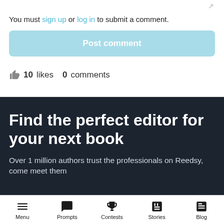You must sign up or log in to submit a comment.
Post comment
10 likes   0 comments
Find the perfect editor for your next book
Over 1 million authors trust the professionals on Reedsy, come meet them
Menu  Prompts  Contests  Stories  Blog